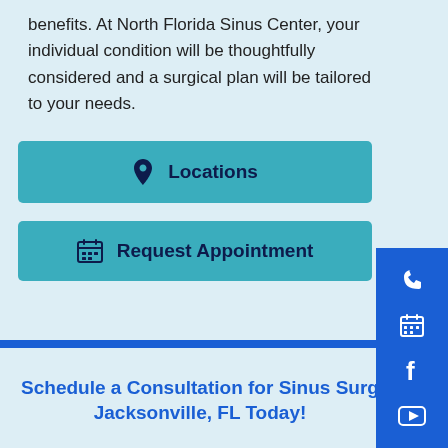benefits. At North Florida Sinus Center, your individual condition will be thoughtfully considered and a surgical plan will be tailored to your needs.
Locations
Request Appointment
Schedule a Consultation for Sinus Surgery Jacksonville, FL Today!
Read the most current information about...